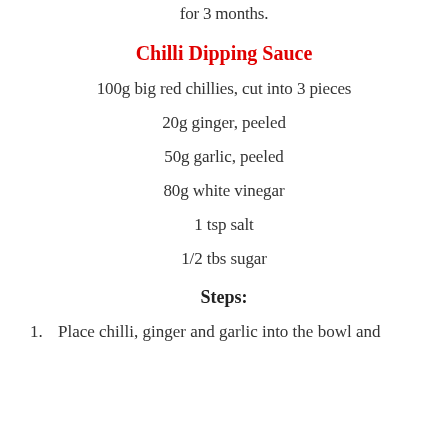for 3 months.
Chilli Dipping Sauce
100g big red chillies, cut into 3 pieces
20g ginger, peeled
50g garlic, peeled
80g white vinegar
1 tsp salt
1/2 tbs sugar
Steps:
1. Place chilli, ginger and garlic into the bowl and